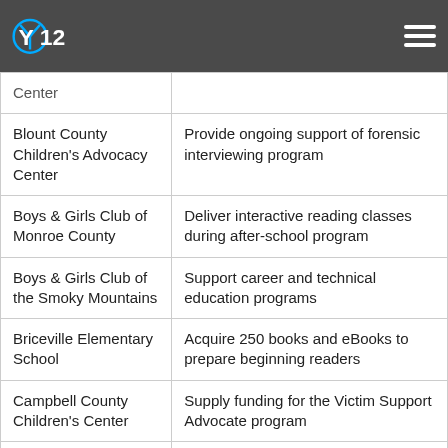Y12 [logo]
| Organization | Activity |
| --- | --- |
| Blount County Children's Advocacy Center | Provide ongoing support of forensic interviewing program |
| Boys & Girls Club of Monroe County | Deliver interactive reading classes during after-school program |
| Boys & Girls Club of the Smoky Mountains | Support career and technical education programs |
| Briceville Elementary School | Acquire 250 books and eBooks to prepare beginning readers |
| Campbell County Children's Center | Supply funding for the Victim Support Advocate program |
|  |  |